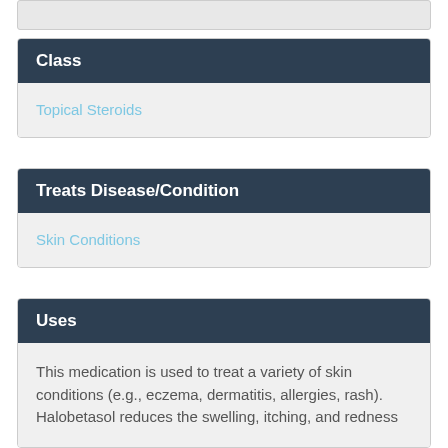Class
Topical Steroids
Treats Disease/Condition
Skin Conditions
Uses
This medication is used to treat a variety of skin conditions (e.g., eczema, dermatitis, allergies, rash). Halobetasol reduces the swelling, itching, and redness